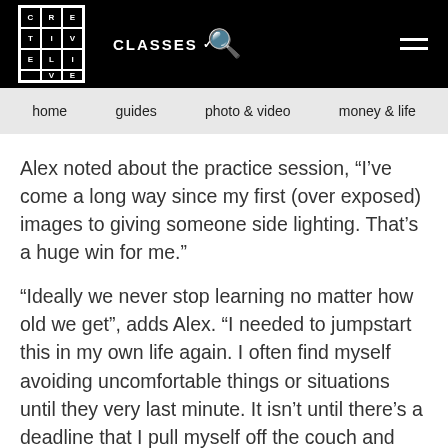CREATIVE LIVE | CLASSES | Search | Menu
home | guides | photo & video | money & life
Alex noted about the practice session, “I’ve come a long way since my first (over exposed) images to giving someone side lighting. That’s a huge win for me.”
“Ideally we never stop learning no matter how old we get”, adds Alex. “I needed to jumpstart this in my own life again. I often find myself avoiding uncomfortable things or situations until they very last minute. It isn’t until there’s a deadline that I pull myself off the couch and